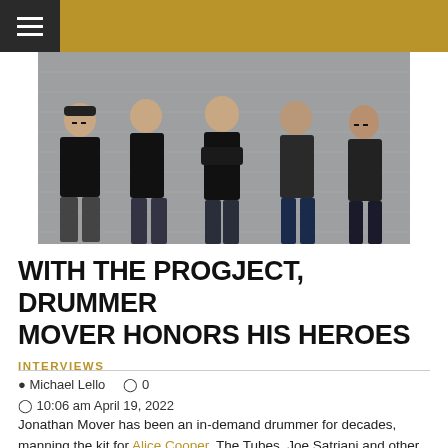≡
[Figure (photo): Five men in dark clothing posing together against a gray corrugated metal background. The group is The ProgJect.]
WITH THE PROGJECT, DRUMMER MOVER HONORS HIS HEROES
INTERVIEWS
Michael Lello   0   10:06 am April 19, 2022
Jonathan Mover has been an in-demand drummer for decades, manning the kit for Alice Cooper, The Tubes, Joe Satriani and other rock